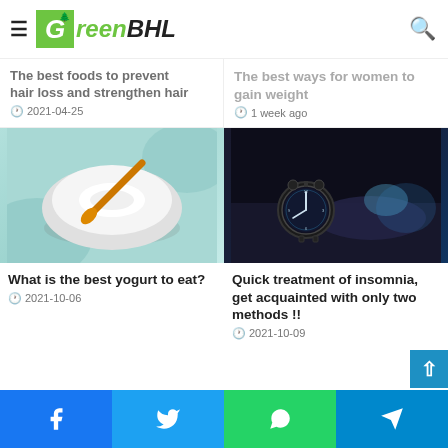GreenBHL
The best foods to prevent hair loss and strengthen hair
2021-04-25
The best ways for women to gain weight
1 week ago
[Figure (photo): Bowl of white yogurt with an orange spoon on a light teal background]
What is the best yogurt to eat?
2021-10-06
[Figure (photo): Person lying in bed in the dark next to an illuminated analog alarm clock]
Quick treatment of insomnia, get acquainted with only two methods !!
2021-10-09
Facebook Twitter WhatsApp Telegram